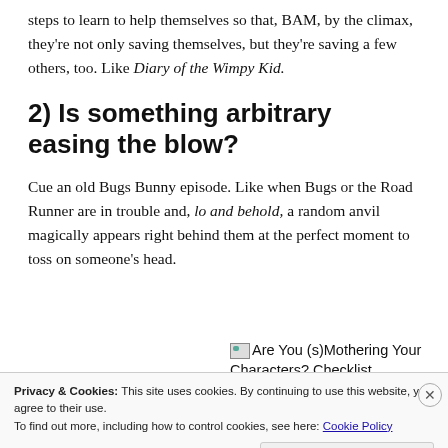steps to learn to help themselves so that, BAM, by the climax, they're not only saving themselves, but they're saving a few others, too. Like Diary of the Wimpy Kid.
2) Is something arbitrary easing the blow?
Cue an old Bugs Bunny episode. Like when Bugs or the Road Runner are in trouble and, lo and behold, a random anvil magically appears right behind them at the perfect moment to toss on someone's head.
[Figure (other): Broken image placeholder with text: Are You (s)Mothering Your Characters? Checklist]
Privacy & Cookies: This site uses cookies. By continuing to use this website, you agree to their use.
To find out more, including how to control cookies, see here: Cookie Policy
Close and accept